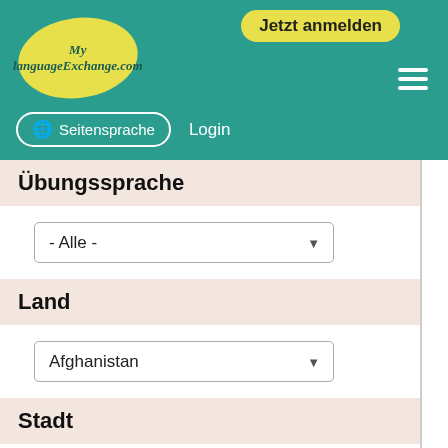[Figure (screenshot): MyLanguageExchange.com website header with teal background, yellow oval logo, 'Jetzt anmelden' button, hamburger menu, globe/Seitensprache button, and Login text]
Übungssprache
- Alle -
Land
Afghanistan
Stadt
Tipp: Verwende verschiedene sprachliche Versionen des Städtenamen.
z.B. Suche nach Montreal und Montréal.
Suche nach Rom und Roma.
Optional
Accents eingeben
Alter